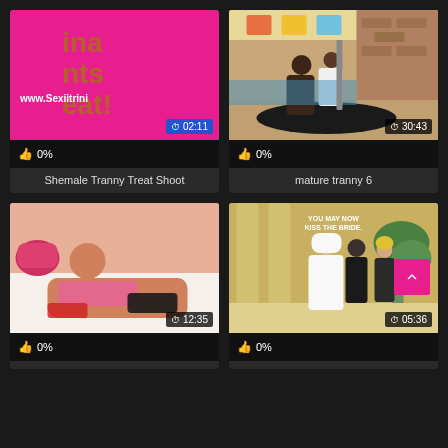[Figure (screenshot): Video thumbnail - pink background with partial text and URL watermark, duration 02:11]
👍 0%
Shemale Tranny Treat Shoot
[Figure (screenshot): Video thumbnail - pool scene with two figures, duration 30:43]
👍 0%
mature tranny 6
[Figure (screenshot): Video thumbnail - photo scene, duration 12:35]
👍 0%
[Figure (screenshot): Video thumbnail - animated wedding scene with text YOU MAY NOW KISS THE BRIDE, scroll button, duration 05:36]
👍 0%